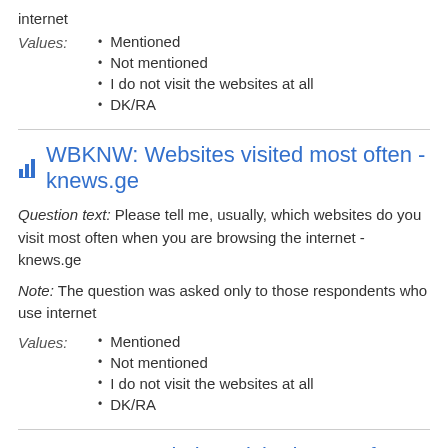internet
Values:
Mentioned
Not mentioned
I do not visit the websites at all
DK/RA
WBKNW: Websites visited most often - knews.ge
Question text: Please tell me, usually, which websites do you visit most often when you are browsing the internet - knews.ge
Note: The question was asked only to those respondents who use internet
Values:
Mentioned
Not mentioned
I do not visit the websites at all
DK/RA
WBQZK: Websites visited most often - qiziki.blogspot.com